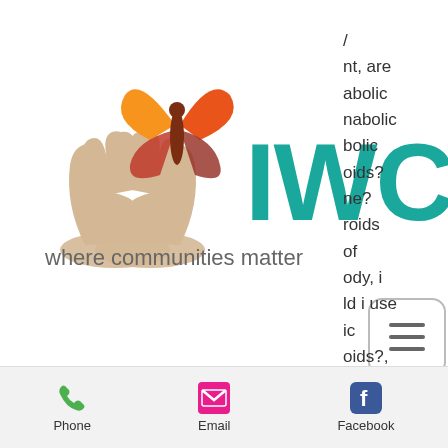[Figure (logo): IWC logo with butterfly and hands graphic, teal IWC text with TM mark, tagline 'where communities matter']
[Figure (other): Hamburger menu button (three horizontal lines) with rounded rectangle border]
/ nt, are abolic nabolic bolic oids? ne? roids of ody, i ld i use ic oids?, d after at is ne best olic
1300 492 492
Email: info@iwc.org.au
[Figure (other): Bottom navigation bar with Phone (green phone icon), Email (pink envelope icon), Facebook (blue Facebook icon)]